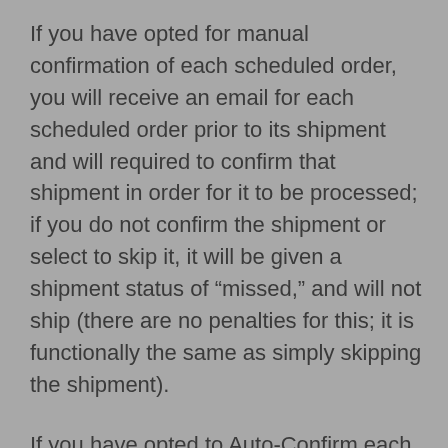If you have opted for manual confirmation of each scheduled order, you will receive an email for each scheduled order prior to its shipment and will required to confirm that shipment in order for it to be processed; if you do not confirm the shipment or select to skip it, it will be given a shipment status of "missed," and will not ship (there are no penalties for this; it is functionally the same as simply skipping the shipment).
If you have opted to Auto-Confirm each shipment, you will only be able to cancel or skip a shipment before the upcoming shipment has automatically confirmed.
To cancel or skip specific shipments from